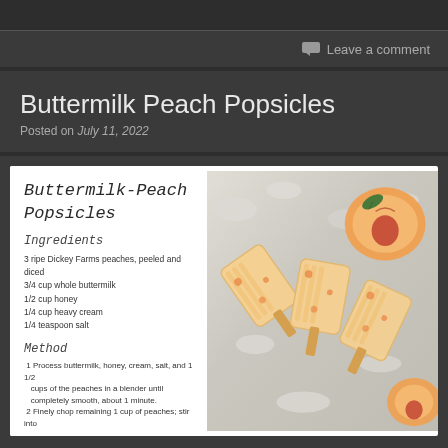Leave a comment
Buttermilk Peach Popsicles
Posted on July 11, 2022
[Figure (photo): Recipe card with handwritten-style script title 'Buttermilk-Peach Popsicles' on left showing ingredients and method, with a photo on the right of peach popsicles on ice with fresh peaches]
Ingredients
3 ripe Dickey Farms peaches, peeled and diced
3/4 cup whole buttermilk
1/2 cup honey
1/4 cup heavy cream
1/4 teaspoon salt
Method
1 Process buttermilk, honey, cream, salt, and 1 1/2 cups of the peaches in a blender until completely smooth, about 1 minute.
2 Finely chop remaining 1 cup of peaches; stir into